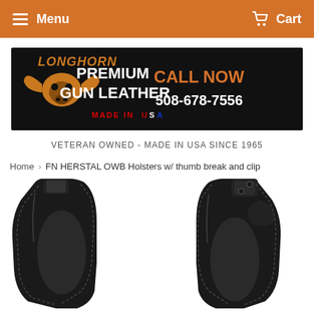Menu   Cart
[Figure (logo): Longhorn Premium Gun Leather banner — black background with orange longhorn skull logo, 'LONGHORN' in orange italic, 'PREMIUM GUN LEATHER' in white bold, 'MADE IN USA' in red/white/blue, 'CALL NOW 508-678-7556' in orange and white on the right.]
VETERAN OWNED - MADE IN USA SINCE 1965
Home › FN HERSTAL OWB Holsters w/ thumb break and clip
[Figure (photo): Two black leather OWB holsters shown side by side from the top, displaying the thumb break strap and clip mechanism against a white background.]